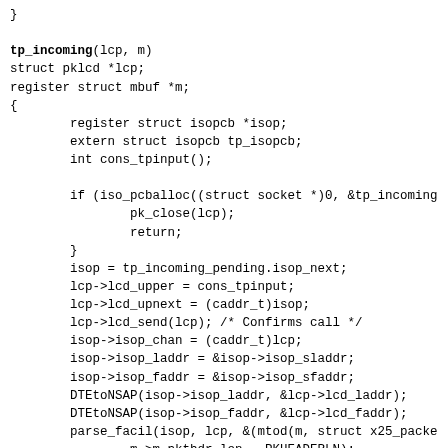}

tp_incoming(lcp, m)
struct pklcd *lcp;
register struct mbuf *m;
{
        register struct isopcb *isop;
        extern struct isopcb tp_isopcb;
        int cons_tpinput();

        if (iso_pcballoc((struct socket *)0, &tp_incoming
                pk_close(lcp);
                return;
        }
        isop = tp_incoming_pending.isop_next;
        lcp->lcd_upper = cons_tpinput;
        lcp->lcd_upnext = (caddr_t)isop;
        lcp->lcd_send(lcp); /* Confirms call */
        isop->isop_chan = (caddr_t)lcp;
        isop->isop_laddr = &isop->isop_sladdr;
        isop->isop_faddr = &isop->isop_sfaddr;
        DTEtoNSAP(isop->isop_laddr, &lcp->lcd_laddr);
        DTEtoNSAP(isop->isop_faddr, &lcp->lcd_faddr);
        parse_facil(isop, lcp, &(mtod(m, struct x25_packe
                m->m_pkthdr.len - PKHEADERLN);
}

cons_tpinput(lcp, m0)
struct mbuf *m0;
struct pklcd *lcp;